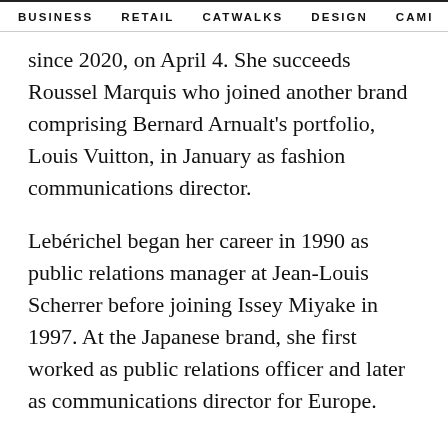BUSINESS   RETAIL   CATWALKS   DESIGN   CAMI >
since 2020, on April 4. She succeeds Roussel Marquis who joined another brand comprising Bernard Arnualt's portfolio, Louis Vuitton, in January as fashion communications director.
Lebérichel began her career in 1990 as public relations manager at Jean-Louis Scherrer before joining Issey Miyake in 1997. At the Japanese brand, she first worked as public relations officer and later as communications director for Europe.
She first joined the LVMH Group in 2002 as international communications director for Céline. In 2013, she transferred over to the Prada Group in Italy,